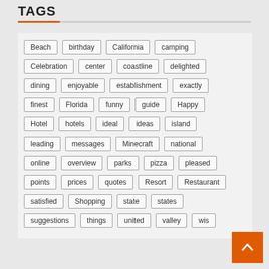TAGS
Beach, birthday, California, camping, Celebration, center, coastline, delighted, dining, enjoyable, establishment, exactly, finest, Florida, funny, guide, Happy, Hotel, hotels, ideal, ideas, island, leading, messages, Minecraft, national, online, overview, parks, pizza, pleased, points, prices, quotes, Resort, Restaurant, satisfied, Shopping, state, states, suggestions, things, united, valley, wish